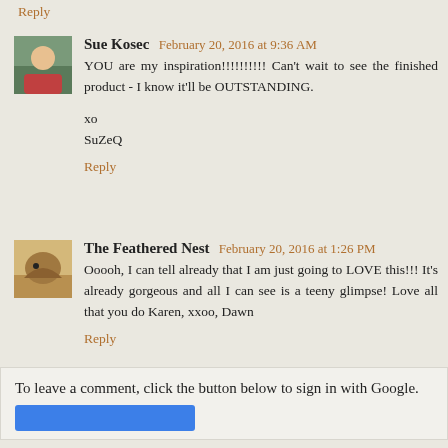Reply
Sue Kosec  February 20, 2016 at 9:36 AM
YOU are my inspiration!!!!!!!!!! Can't wait to see the finished product - I know it'll be OUTSTANDING.

xo
SuZeQ
Reply
The Feathered Nest  February 20, 2016 at 1:26 PM
Ooooh, I can tell already that I am just going to LOVE this!!! It's already gorgeous and all I can see is a teeny glimpse! Love all that you do Karen, xxoo, Dawn
Reply
To leave a comment, click the button below to sign in with Google.